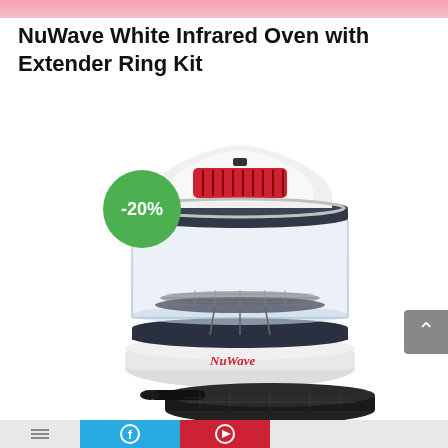NuWave White Infrared Oven with Extender Ring Kit
[Figure (photo): NuWave White Infrared Oven with Extender Ring Kit product photo showing the oven with clear dome, white base with red NuWave logo, dark metal cooking rack inside, and a separate dark skillet/pan accessory below. A green circle badge showing -20% discount is overlaid on the left side of the image.]